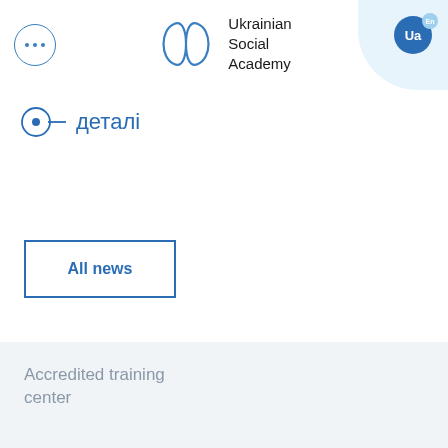[Figure (logo): Ukrainian Social Academy logo with blue infinity/leaf SVG icon and text]
деталі
All news
Accredited training center